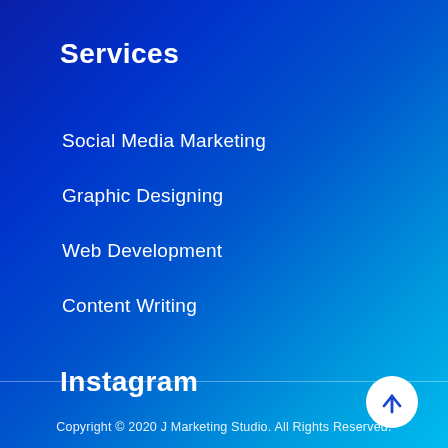Services
Social Media Marketing
Graphic Designing
Web Development
Content Writing
Instagram
Copyright © 2020 J Marketing Studio. All Rights Reserved.